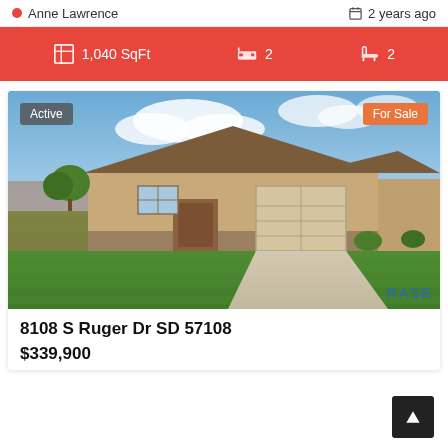Anne Lawrence
2 years ago
1,040 SqFt   2   2
[Figure (photo): Exterior photo of a single-story ranch-style house with brown siding, stone accents, two-car garage, and a large green lawn. Badges: 'Active' (top left) and 'For Sale' (top right). RASE watermark bottom right.]
8108 S Ruger Dr SD 57108
$339,900